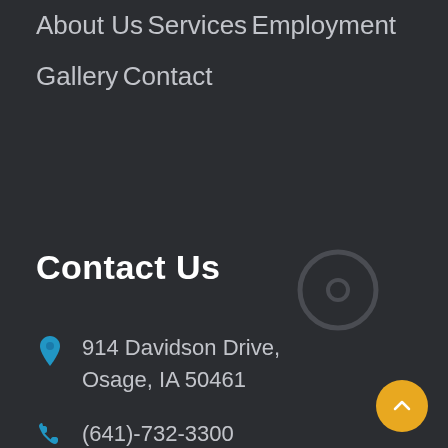About Us
Services
Employment
Gallery
Contact
Contact Us
[Figure (illustration): Map pin / location icon outline in dark gray]
914 Davidson Drive, Osage, IA 50461
(641)-732-3300
info@faithlutheran.com